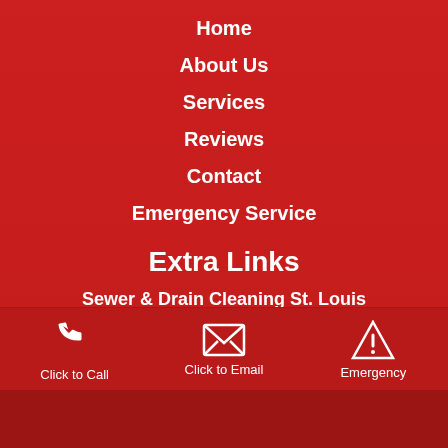Home
About Us
Services
Reviews
Contact
Emergency Service
Extra Links
Sewer & Drain Cleaning St. Louis
Plumbing Services
Click to Call   Click to Email   Emergency